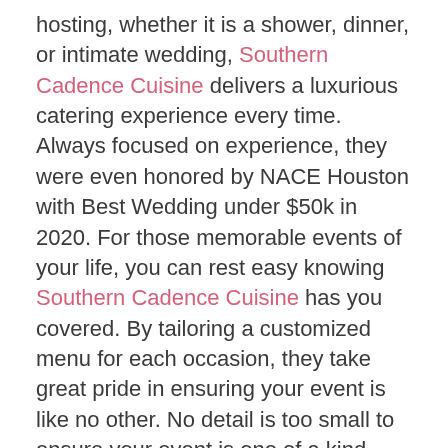hosting, whether it is a shower, dinner, or intimate wedding, Southern Cadence Cuisine delivers a luxurious catering experience every time. Always focused on experience, they were even honored by NACE Houston with Best Wedding under $50k in 2020. For those memorable events of your life, you can rest easy knowing Southern Cadence Cuisine has you covered. By tailoring a customized menu for each occasion, they take great pride in ensuring your event is like no other. No detail is too small to ensure your event is one of a kind. Southern Cadence Cuisine will be the perfect addition to your overall vision, much like this styled garden party wedding.
The vibrant color pallet of the cuisine blends perfectly with the blush tones of the florals. Thus, creating an airy aesthetic for this garden party wedding. The floral lace bridal gown by Modern Affinity is truly timeless perfection. This gown also has a subtle sheer bodice detail, giving it the perfect balance of trendy and classic. Misty